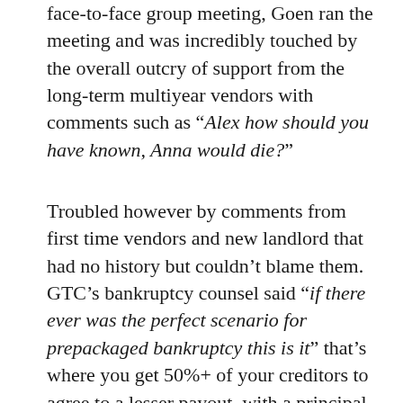face-to-face group meeting, Goen ran the meeting and was incredibly touched by the overall outcry of support from the long-term multiyear vendors with comments such as "Alex how should you have known, Anna would die?"
Troubled however by comments from first time vendors and new landlord that had no history but couldn't blame them. GTC's bankruptcy counsel said "if there ever was the perfect scenario for prepackaged bankruptcy this is it" that's where you get 50%+ of your creditors to agree to a lesser payout, with a principal contribution and a long-term scheduled payments. Goen drummed up well over 50%+ support. On May 21 filed for chapter 11 protection with a prepackaged bankruptcy plan and the list of creditors and